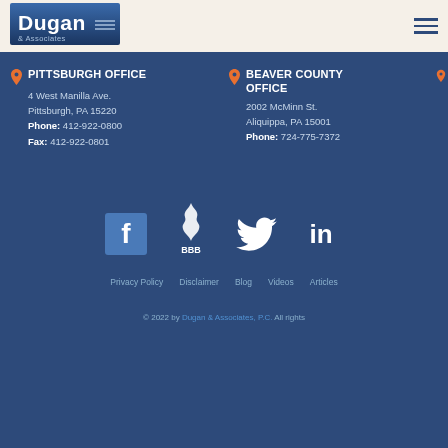[Figure (logo): Dugan & Associates law firm logo in blue and white]
PITTSBURGH OFFICE
4 West Manilla Ave.
Pittsburgh, PA 15220
Phone: 412-922-0800
Fax: 412-922-0801
BEAVER COUNTY OFFICE
2002 McMinn St.
Aliquippa, PA 15001
Phone: 724-775-7372
[Figure (infographic): Social media icons: Facebook, BBB, Twitter, LinkedIn]
Privacy Policy   Disclaimer   Blog   Videos   Articles
© 2022 by Dugan & Associates, P.C. All rights